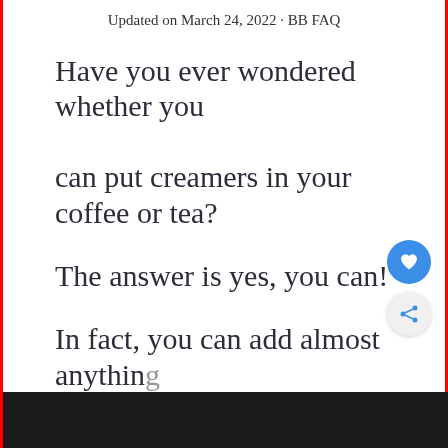Updated on March 24, 2022 · BB FAQ
Have you ever wondered whether you can put creamers in your coffee or tea?
The answer is yes, you can!
In fact, you can add almost anything to your hot beverage.